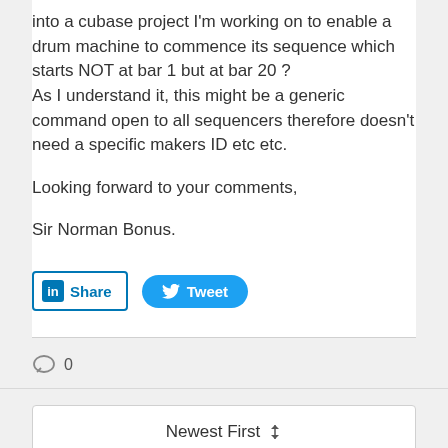into a cubase project I'm working on to enable a drum machine to commence its sequence which starts NOT at bar 1 but at bar 20 ?
As I understand it, this might be a generic command open to all sequencers therefore doesn't need a specific makers ID etc etc.

Looking forward to your comments,

Sir Norman Bonus.
[Figure (other): LinkedIn Share button and Twitter Tweet button]
0
Newest First
Norman